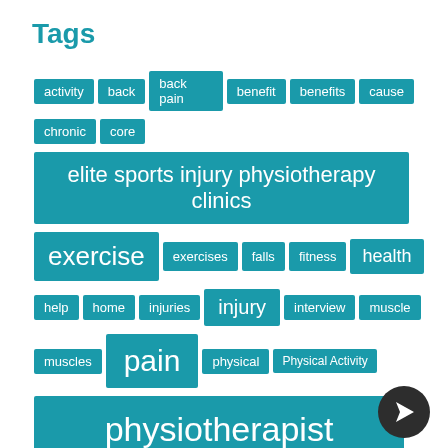Tags
activity
back
back pain
benefit
benefits
cause
chronic
core
elite sports injury physiotherapy clinics
exercise
exercises
falls
fitness
health
help
home
injuries
injury
interview
muscle
muscles
pain
physical
Physical Activity
physiotherapist
physiotherapists